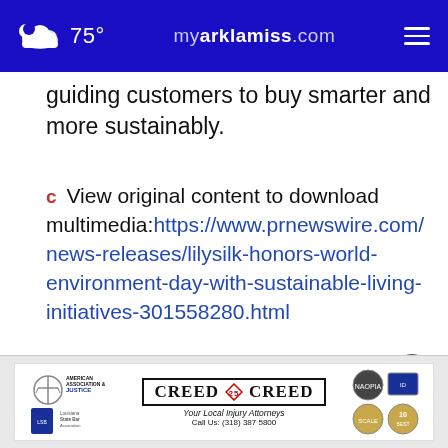75° myarklamiss.com
guiding customers to buy smarter and more sustainably.
C View original content to download multimedia:https://www.prnewswire.com/news-releases/lilysilk-honors-world-environment-day-with-sustainable-living-initiatives-301558280.html
SOURCE LILYSILK
[Figure (other): Advertisement banner for Creed & Creed Local Injury Attorneys with logos for American Association for Justice and Louisiana State Bar Association. Call Us: (318) 387 5800]